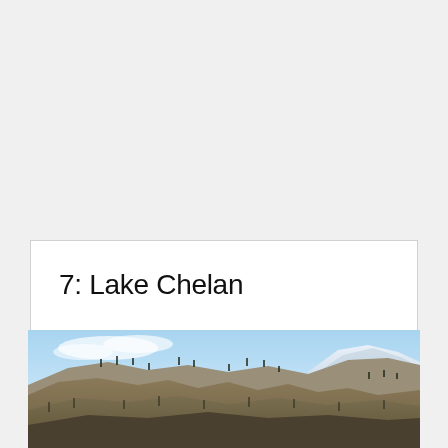7: Lake Chelan
[Figure (photo): Landscape photograph of arid mountain ridgelines with sparse conifer trees, brown grassy slopes, and snow-capped peaks in the background under a clear blue sky — Lake Chelan area, Washington State.]